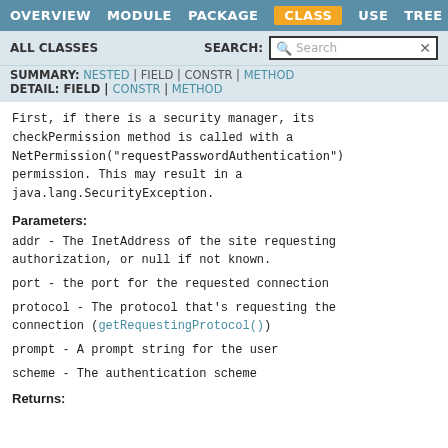OVERVIEW  MODULE  PACKAGE  CLASS  USE  TREE
ALL CLASSES   SEARCH:  [Search]
SUMMARY: NESTED | FIELD | CONSTR | METHOD
DETAIL: FIELD | CONSTR | METHOD
First, if there is a security manager, its checkPermission method is called with a NetPermission("requestPasswordAuthentication") permission. This may result in a java.lang.SecurityException.
Parameters:
addr - The InetAddress of the site requesting authorization, or null if not known.
port - the port for the requested connection
protocol - The protocol that's requesting the connection (getRequestingProtocol())
prompt - A prompt string for the user
scheme - The authentication scheme
Returns: